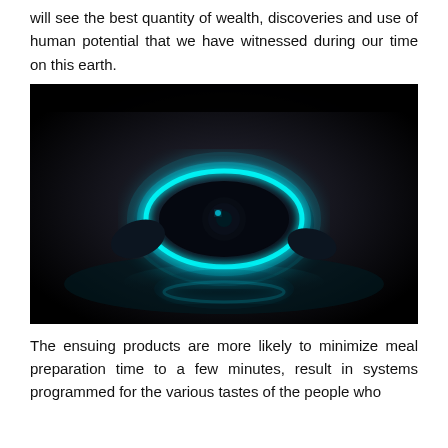will see the best quantity of wealth, discoveries and use of human potential that we have witnessed during our time on this earth.
[Figure (photo): A futuristic glowing cyan/blue robotic or technological device lying on a reflective surface against a dark background, with a bright circular neon ring around its center.]
The ensuing products are more likely to minimize meal preparation time to a few minutes, result in systems programmed for the various tastes of the people who